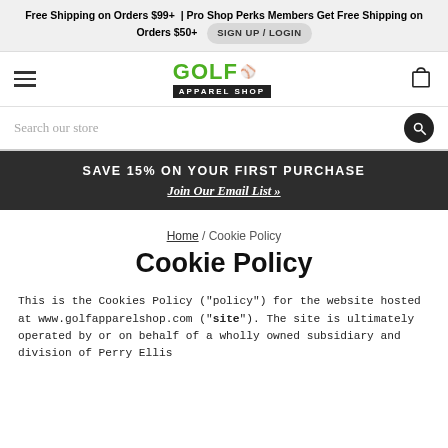Free Shipping on Orders $99+ | Pro Shop Perks Members Get Free Shipping on Orders $50+  SIGN UP / LOGIN
[Figure (logo): Golf Apparel Shop logo with green GOLF text and golf ball icon, black APPAREL SHOP bar below]
Search our store
SAVE 15% ON YOUR FIRST PURCHASE
Join Our Email List »
Home / Cookie Policy
Cookie Policy
This is the Cookies Policy ("policy") for the website hosted at www.golfapparelshop.com ("site"). The site is ultimately operated by or on behalf of a wholly owned subsidiary and division of Perry Ellis